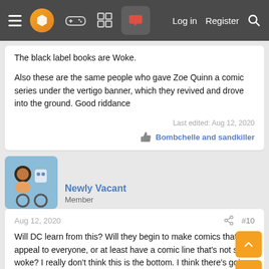Navigation bar with menu, logo, game controller, grid, forum icons; Log in, Register, Search
The black label books are Woke.
Also these are the same people who gave Zoe Quinn a comic series under the vertigo banner, which they revived and drove into the ground. Good riddance
Last edited: Aug 12, 2020
Bombchelle and sandkiller
Newly Vacant
Member
Aug 12, 2020
#10
Will DC learn from this? Will they begin to make comics that appeal to everyone, or at least have a comic line that's not super woke? I really don't think this is the bottom. I think there's going to have to be more cuts and pressure before